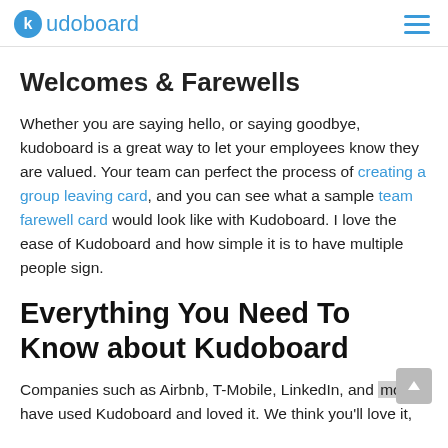kudoboard
Welcomes & Farewells
Whether you are saying hello, or saying goodbye, kudoboard is a great way to let your employees know they are valued. Your team can perfect the process of creating a group leaving card, and you can see what a sample team farewell card would look like with Kudoboard. I love the ease of Kudoboard and how simple it is to have multiple people sign.
Everything You Need To Know about Kudoboard
Companies such as Airbnb, T-Mobile, LinkedIn, and more have used Kudoboard and loved it. We think you'll love it,